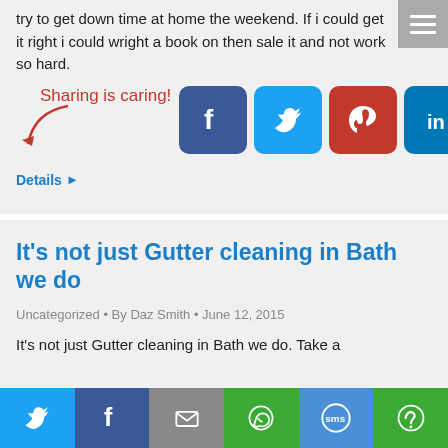try to get down time at home the weekend. If i could get it right i could wright a book on then sale it and not work so hard.
[Figure (screenshot): Sharing is caring social share buttons with arrow pointing to Facebook, Twitter, Pinterest, LinkedIn, Email, and More Options icons]
Details ▶
It's not just Gutter cleaning in Bath we do
Uncategorized • By Daz Smith • June 12, 2015
It's not just Gutter cleaning in Bath we do. Take a
[Figure (screenshot): Bottom social share bar with Twitter, Facebook, Email, WhatsApp, SMS, and More Options buttons]